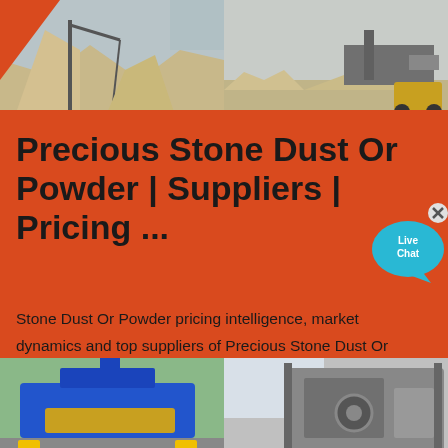[Figure (photo): Two quarry/mining site photos side by side: left shows excavation machinery and sand piles, right shows large conveyor and earthmoving equipment]
Precious Stone Dust Or Powder | Suppliers | Pricing ...
Stone Dust Or Powder pricing intelligence, market dynamics and top suppliers of Precious Stone Dust Or Powder. GET FREE SAMPLE This report on global Precious Stone Dust Or Powder category is part of a larger series of reports on global The ...
[Figure (photo): Two industrial machinery photos: left shows a blue mobile screening/crushing machine outdoors, right shows a large grey industrial crushing or processing machine in a factory]
[Figure (illustration): Live Chat button - cyan/teal speech bubble with 'Live Chat' text and an X close button]